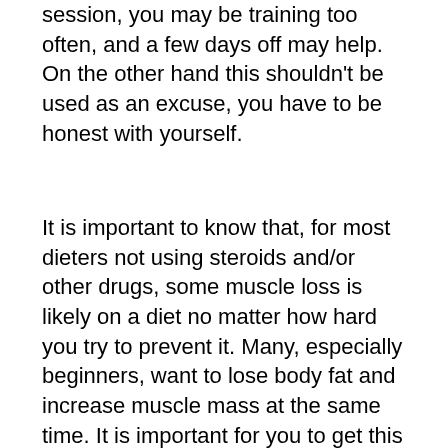session, you may be training too often, and a few days off may help. On the other hand this shouldn't be used as an excuse, you have to be honest with yourself.
It is important to know that, for most dieters not using steroids and/or other drugs, some muscle loss is likely on a diet no matter how hard you try to prevent it. Many, especially beginners, want to lose body fat and increase muscle mass at the same time. It is important for you to get this idea out of your head, because although the magazines make it look commonplace, it is not, especially among those who have not been blessed with exceptional genetics. This is always something that one may want to attempt, but it shouldn't even be considered an option until one has quite a bit of experience and knowledge, or is planning on